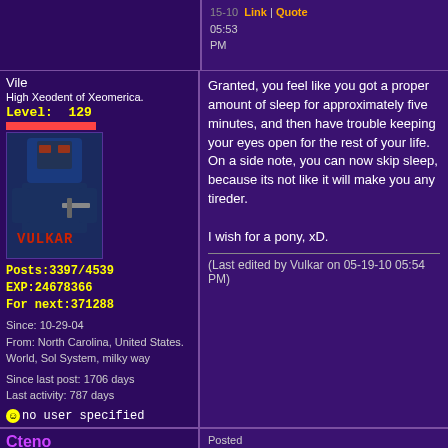05:53 PM  Link | Quote
Vile
High Xeodent of Xeomerica.
Level: 129
Posts:3397/4539
EXP:24678366
For next:371288
Since: 10-29-04
From: North Carolina, United States. World, Sol System, milky way
Since last post: 1706 days
Last activity: 787 days
no user specified
Granted, you feel like you got a proper amount of sleep for approximately five minutes, and then have trouble keeping your eyes open for the rest of your life. On a side note, you can now skip sleep, because its not like it will make you any tireder.

I wish for a pony, xD.
(Last edited by Vulkar on 05-19-10 05:54 PM)
Cteno
Super Shotgun
Moderator
Level: 114
Posts:3409
EXP:15971204
For next:338363
Since: 01-11-05
Since last post: 1024 days
Posted on 05-19-10  Link | Quote  08:16 PM
Originally posted by Vulkar
I wish for a pony, xD.
A crudely drawn stick figure pony on a piece of paper floats your way...

I wish that I could fire bullets from my